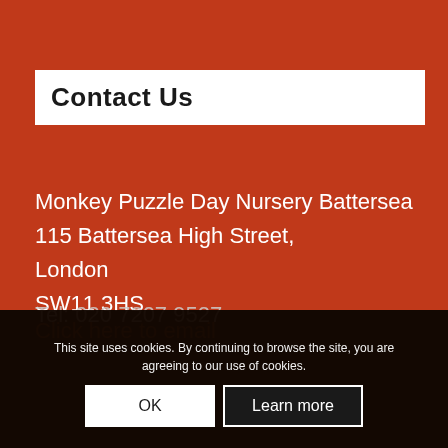Contact Us
Monkey Puzzle Day Nursery Battersea
115 Battersea High Street,
London
SW11 3HS
Tel: 020 7207 9527
Click here to email
This site uses cookies. By continuing to browse the site, you are agreeing to our use of cookies.